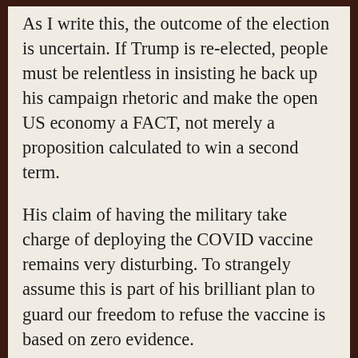As I write this, the outcome of the election is uncertain. If Trump is re-elected, people must be relentless in insisting he back up his campaign rhetoric and make the open US economy a FACT, not merely a proposition calculated to win a second term.
His claim of having the military take charge of deploying the COVID vaccine remains very disturbing. To strangely assume this is part of his brilliant plan to guard our freedom to refuse the vaccine is based on zero evidence.
Add to that the secrecy surrounding the federal collaboration with the Pentagon to develop a COVID vaccine, and you have a